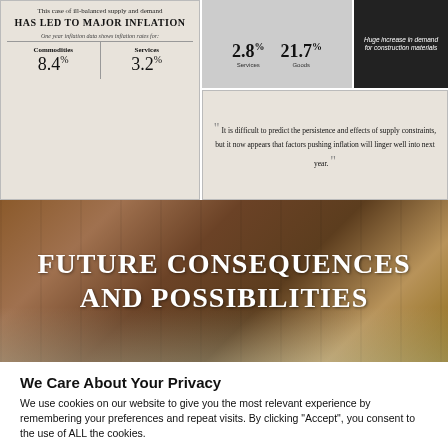[Figure (infographic): Inflation infographic showing major inflation from ill-balanced supply and demand. Left panel shows Commodities 8.4% and Services 3.2%. Right panel shows 2.8% Services and 21.7% Goods bar indicators, and a dark box with text about huge increase in demand for construction materials. Quote box: 'It is difficult to predict the persistence and effects of supply constraints, but it now appears that factors pushing inflation will linger well into next year.']
[Figure (photo): Hero banner image showing a wooden ceiling interior with text overlay reading 'FUTURE CONSEQUENCES AND POSSIBILITIES']
We Care About Your Privacy
We use cookies on our website to give you the most relevant experience by remembering your preferences and repeat visits. By clicking “Accept”, you consent to the use of ALL the cookies.
Do not sell my personal information.